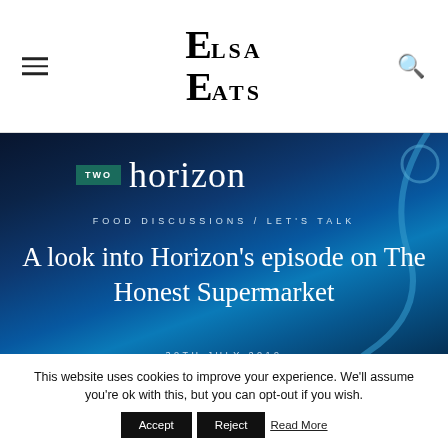Elsa Eats
[Figure (screenshot): Dark blue hero image with BBC Two Horizon branding, showing text 'TWO horizon FOOD DISCUSSIONS / LET'S TALK', article title 'A look into Horizon's episode on The Honest Supermarket', and date '30TH JULY 2019']
A look into Horizon's episode on The Honest Supermarket
This website uses cookies to improve your experience. We'll assume you're ok with this, but you can opt-out if you wish.  Accept  Reject  Read More